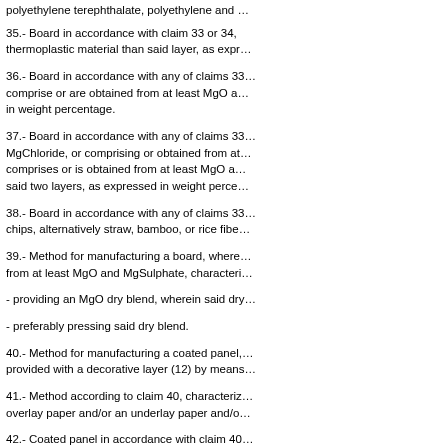polyethylene terephthalate, polyethylene and …
35.- Board in accordance with claim 33 or 34, thermoplastic material than said layer, as expr…
36.- Board in accordance with any of claims 33… comprise or are obtained from at least MgO a… in weight percentage.
37.- Board in accordance with any of claims 33… MgChloride, or comprising or obtained from at… comprises or is obtained from at least MgO a… said two layers, as expressed in weight perce…
38.- Board in accordance with any of claims 33… chips, alternatively straw, bamboo, or rice fibe…
39.- Method for manufacturing a board, where… from at least MgO and MgSulphate, characteri…
- providing an MgO dry blend, wherein said dry…
- preferably pressing said dry blend.
40.- Method for manufacturing a coated panel,… provided with a decorative layer (12) by means…
41.- Method according to claim 40, characteriz… overlay paper and/or an underlay paper and/o…
42.- Coated panel in accordance with claim 40… veneer, a ceramic tile, a stone veneer, a therm…
43.- Method for manufacturing a board, where…